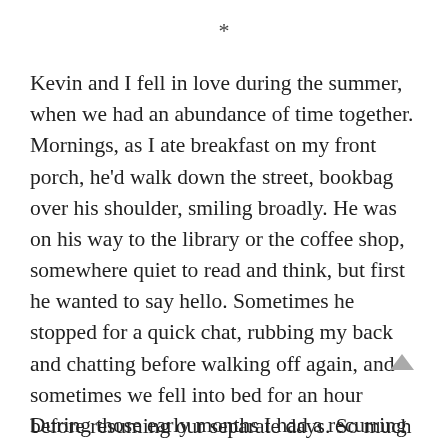*
Kevin and I fell in love during the summer, when we had an abundance of time together. Mornings, as I ate breakfast on my front porch, he'd walk down the street, bookbag over his shoulder, smiling broadly. He was on his way to the library or the coffee shop, somewhere quiet to read and think, but first he wanted to say hello. Sometimes he stopped for a quick chat, rubbing my back and chatting before walking off again, and sometimes we fell into bed for an hour before resuming our separate days. So much of the pleasure of that time came from the growing rhythm, how we collided and spun away, discovering each time we intersected again that we liked each other more.
During those early months I had a recurring dream